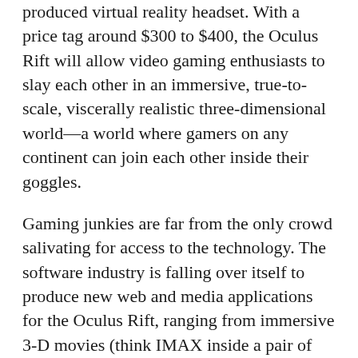produced virtual reality headset. With a price tag around $300 to $400, the Oculus Rift will allow video gaming enthusiasts to slay each other in an immersive, true-to-scale, viscerally realistic three-dimensional world—a world where gamers on any continent can join each other inside their goggles.
Gaming junkies are far from the only crowd salivating for access to the technology. The software industry is falling over itself to produce new web and media applications for the Oculus Rift, ranging from immersive 3-D movies (think IMAX inside a pair of ski goggles) to tutorials on how to properly dissect a human cadaver to combat simulations for the military. At its core, virtual reality (VR) is an advanced way to experience a 3-D model of anything a designer can come up with; naturally, architects, engineers, and landscape architects are also standing in line for a chance to plug their designs into the new technology.